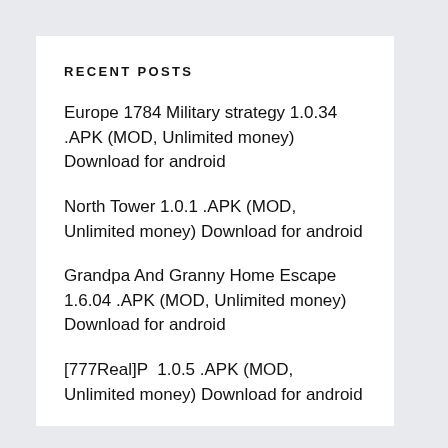RECENT POSTS
Europe 1784 Military strategy 1.0.34 .APK (MOD, Unlimited money) Download for android
North Tower 1.0.1 .APK (MOD, Unlimited money) Download for android
Grandpa And Granny Home Escape 1.6.04 .APK (MOD, Unlimited money) Download for android
[777Real]P󠁲󠁯󠁲󠁯󠁲󠁯󠁲󠁯󠁲󠁯󠁲󠁯 󠁲󠁯󠁲󠁯󠁲󠁯󠁲󠁯󠁲󠁯󠁲󠁯 1.0.5 .APK (MOD, Unlimited money) Download for android